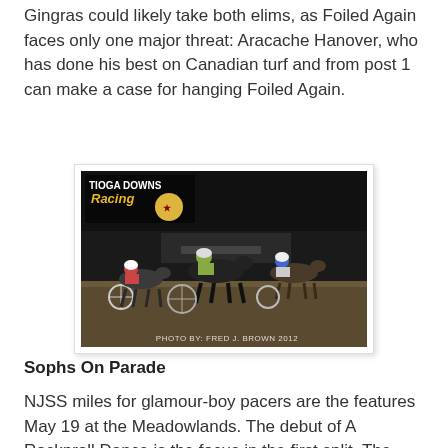Gingras could likely take both elims, as Foiled Again faces only one major threat: Aracache Hanover, who has done his best on Canadian turf and from post 1 can make a case for hanging Foiled Again.
[Figure (photo): Night-time harness racing photo at Tioga Downs Racing, showing multiple horses and sulkies in mid-race. Photo credit: PHOTO BY: FRED J. BROWN  2012]
Sophs On Parade
NJSS miles for glamour-boy pacers are the features May 19 at the Meadowlands. The debut of A Rocknroll Dance is the focus in the first split. The penultimate divisional champ at